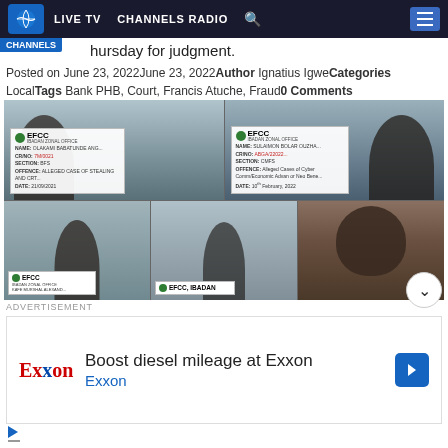LIVE TV  CHANNELS RADIO  [search]  [menu]
to ... hursday for judgment.
Posted on June 23, 2022June 23, 2022Author Ignatius IgweCategories LocalTags Bank PHB, Court, Francis Atuche, Fraud0 Comments
[Figure (photo): Collage of five individuals in EFCC (Economic and Financial Crimes Commission) Ibadan Zonal Office mugshot-style photos, each holding identification cards.]
ADVERTISEMENT
[Figure (infographic): Exxon advertisement: 'Boost diesel mileage at Exxon' with Exxon logo and blue directional arrow icon.]